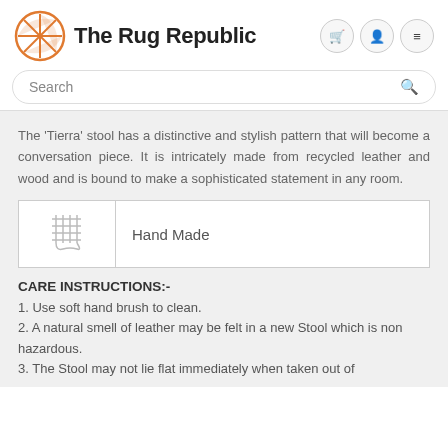The Rug Republic
The 'Tierra' stool has a distinctive and stylish pattern that will become a conversation piece. It is intricately made from recycled leather and wood and is bound to make a sophisticated statement in any room.
| Icon | Label |
| --- | --- |
| [handmade icon] | Hand Made |
CARE INSTRUCTIONS:-
1. Use soft hand brush to clean.
2. A natural smell of leather may be felt in a new Stool which is non hazardous.
3. The Stool may not lie flat immediately when taken out of